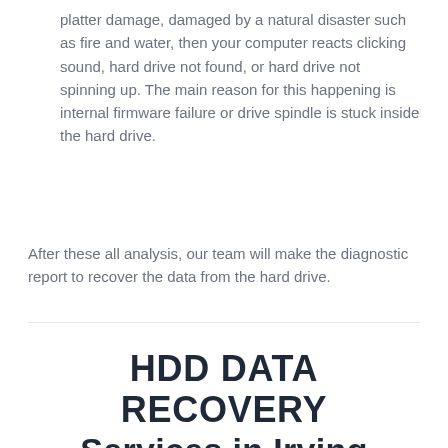platter damage, damaged by a natural disaster such as fire and water, then your computer reacts clicking sound, hard drive not found, or hard drive not spinning up. The main reason for this happening is internal firmware failure or drive spindle is stuck inside the hard drive.
After these all analysis, our team will make the diagnostic report to recover the data from the hard drive.
HDD DATA RECOVERY Services in Irving